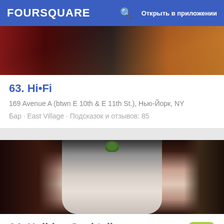FOURSQUARE  Открыть в приложении
[Figure (photo): Dark reddish bar interior photo, partial view]
63. Hi•Fi
169 Avenue A (btwn E 10th & E 11th St.), Нью-Йорк, NY
Бар · East Village · Подсказок и отзывов: 85
[Figure (photo): Photo of a cocktail glass with green garnish on a dark background]
64. Holiday Cocktail Lounge
7.6